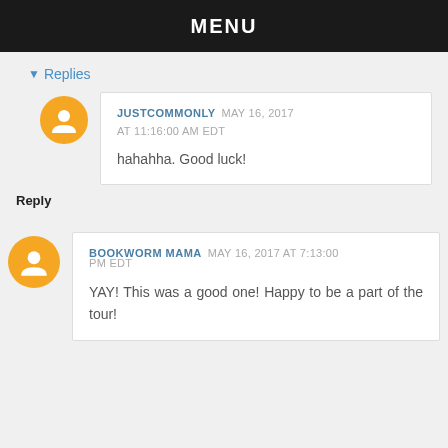MENU
▾ Replies
JUSTCOMMONLY  MAY 16, 2017 AT 11:16:00 AM EDT

hahahha. Good luck!
Reply
BOOKWORM MAMA  MAY 16, 2017 AT 7:13:00 PM EDT

YAY! This was a good one! Happy to be a part of the tour!